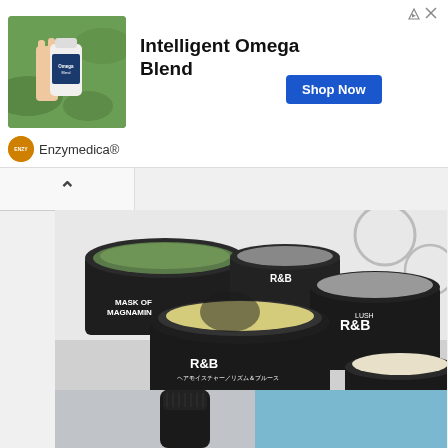[Figure (photo): Advertisement banner showing a hand holding a supplement bottle (Enzymedica Intelligent Omega Blend) against green plant background]
Intelligent Omega Blend
Shop Now
Enzymedica®
[Figure (photo): Multiple LUSH brand black containers with various skincare products: Mask of Magnaminty (green clay mask), R&B hair moisturizer (yellow cream), R&B (larger tub, yellow), and another product with cream/white content. Products arranged overlapping each other on a white surface.]
[Figure (photo): Partial view of a dark bottle with black cap on a light blue and grey background, second product image in the series]